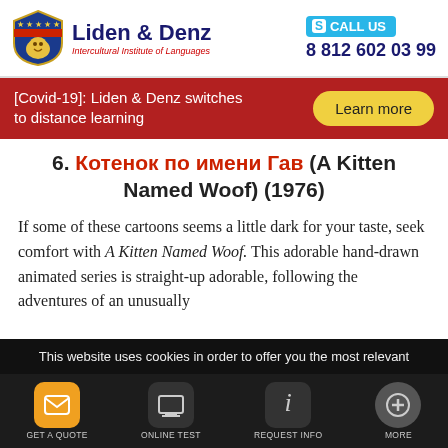[Figure (logo): Liden & Denz Intercultural Institute of Languages logo with shield emblem]
CALL US
8 812 602 03 99
[Covid-19]: Liden & Denz switches to distance learning
Learn more
6. Котенок по имени Гав (A Kitten Named Woof) (1976)
If some of these cartoons seems a little dark for your taste, seek comfort with A Kitten Named Woof. This adorable hand-drawn animated series is straight-up adorable, following the adventures of an unusually
This website uses cookies in order to offer you the most relevant
GET A QUOTE   ONLINE TEST   REQUEST INFO   MORE